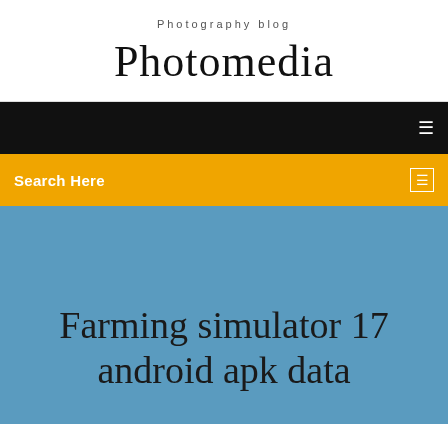Photography blog
Photomedia
☰
Search Here
Farming simulator 17 android apk data